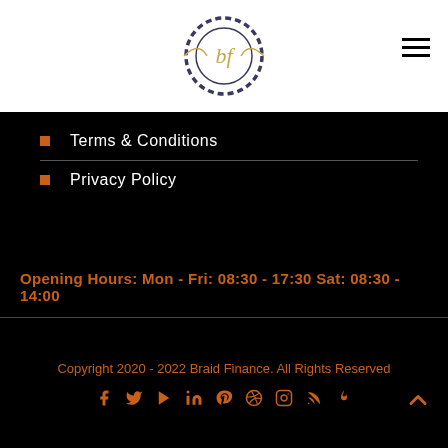[Figure (logo): Braid Finance logo — circular ornate design with 'bf' initials in gold script, dark border, on white background]
Terms & Conditions
Privacy Policy
Opening Hours: Mon - Fri: 08:30 - 17:30 Sat: 08:30 - 14:00
Copyright 2020 - 2022 Braid Finance. All Rights Reserved